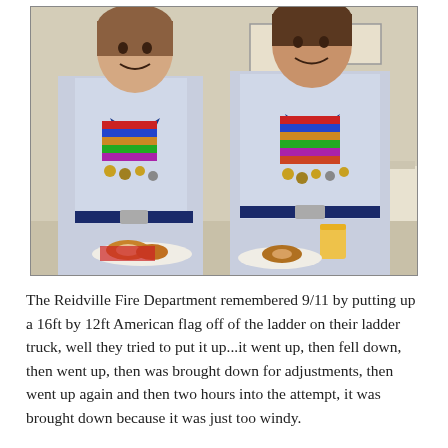[Figure (photo): Two young women in military/JROTC dress uniforms with medals and ribbons holding plates with donuts and a glass of orange juice, smiling, standing indoors with framed photos on the wall behind them.]
The Reidville Fire Department remembered 9/11 by putting up a 16ft by 12ft American flag off of the ladder on their ladder truck, well they tried to put it up...it went up, then fell down, then went up, then was brought down for adjustments, then went up again and then two hours into the attempt, it was brought down because it was just too windy.